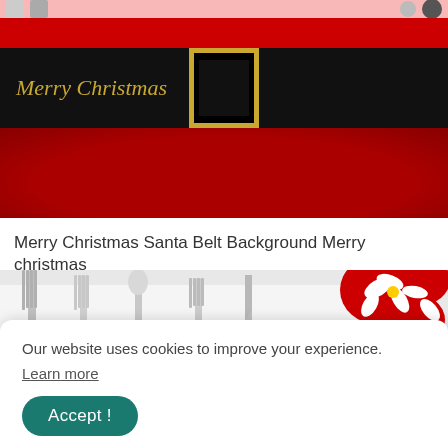[Figure (photo): Santa Claus belt background image with red top and bottom bands, black middle belt with a gold buckle, and italic gold text 'Merry Christmas' on the left side]
Merry Christmas Santa Belt Background Merry christmas
[Figure (photo): Close-up photo of silver cutlery (forks, spoons, knife) on a white surface with red Christmas poinsettia decoration in the top right corner]
Our website uses cookies to improve your experience. Learn more
[Figure (other): Accept button for cookie consent, teal/dark green rounded button with white text 'Accept !']